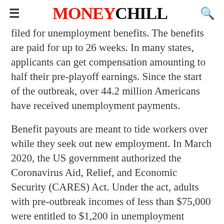MONEYCHILL
filed for unemployment benefits. The benefits are paid for up to 26 weeks. In many states, applicants can get compensation amounting to half their pre-playoff earnings. Since the start of the outbreak, over 44.2 million Americans have received unemployment payments.
Benefit payouts are meant to tide workers over while they seek out new employment. In March 2020, the US government authorized the Coronavirus Aid, Relief, and Economic Security (CARES) Act. Under the act, adults with pre-outbreak incomes of less than $75,000 were entitled to $1,200 in unemployment insurance